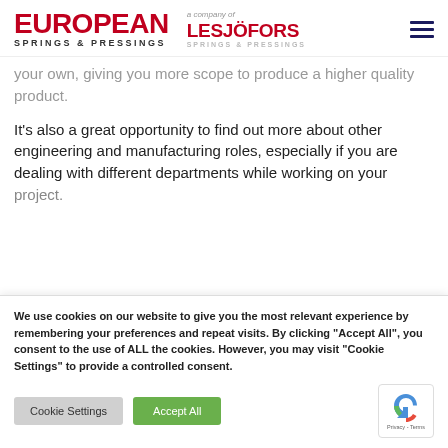[Figure (logo): European Springs & Pressings logo in dark red/crimson, bold uppercase text]
[Figure (logo): Lesjofors Springs & Pressings logo, with 'a company of' italic text above]
your own, giving you more scope to produce a higher quality product.
It's also a great opportunity to find out more about other engineering and manufacturing roles, especially if you are dealing with different departments while working on your project.
We use cookies on our website to give you the most relevant experience by remembering your preferences and repeat visits. By clicking "Accept All", you consent to the use of ALL the cookies. However, you may visit "Cookie Settings" to provide a controlled consent.